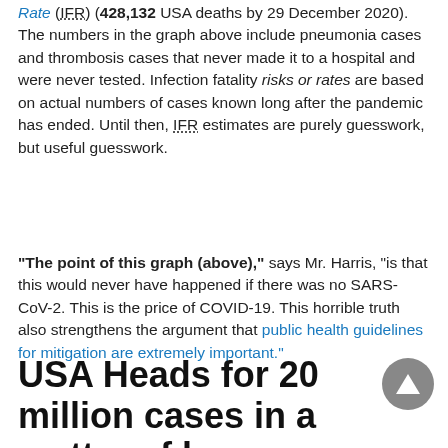Rate (IFR) (428,132 USA deaths by 29 December 2020). The numbers in the graph above include pneumonia cases and thrombosis cases that never made it to a hospital and were never tested. Infection fatality risks or rates are based on actual numbers of cases known long after the pandemic has ended. Until then, IFR estimates are purely guesswork, but useful guesswork.
“The point of this graph (above),” says Mr. Harris, “is that this would never have happened if there was no SARS-CoV-2. This is the price of COVID-19. This horrible truth also strengthens the argument that public health guidelines for mitigation are extremely important.”
USA Heads for 20 million cases in a matter of hours or days.